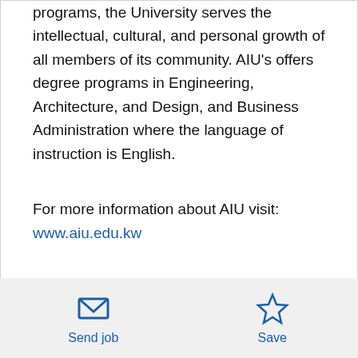programs, the University serves the intellectual, cultural, and personal growth of all members of its community. AIU's offers degree programs in Engineering, Architecture, and Design, and Business Administration where the language of instruction is English.
For more information about AIU visit: www.aiu.edu.kw
How to apply:
Send job
Save